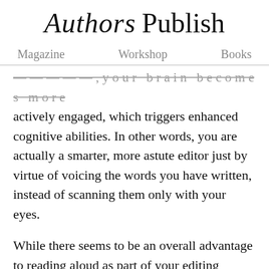Authors Publish — Magazine  Workshop  Books
— — — — — , y o u r   b r a i n   b e c o m e s   m o r e   actively engaged, which triggers enhanced cognitive abilities. In other words, you are actually a smarter, more astute editor just by virtue of voicing the words you have written, instead of scanning them only with your eyes.
While there seems to be an overall advantage to reading aloud as part of your editing process, I've found that some kinds